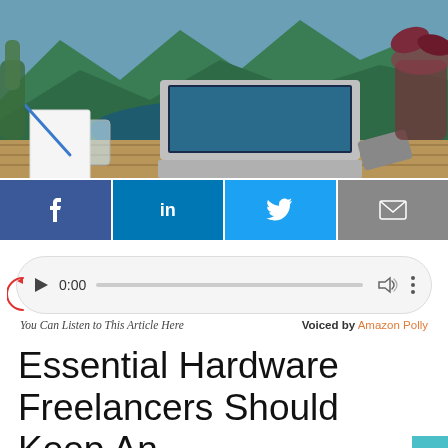[Figure (photo): A MacBook Pro laptop on a wooden outdoor table with a glass of water, notebook with blue pen, smartphone, and flower pot in background showing mountain landscape screensaver]
[Figure (infographic): Social media share buttons row: Facebook (f), LinkedIn (in), Twitter (bird), Email (envelope)]
[Figure (screenshot): Audio player widget showing play button, 0:00 time, progress bar, volume icon, and three-dot menu. Below: 'You Can Listen to This Article Here' and 'Voiced by Amazon Polly']
Essential Hardware Freelancers Should Keep An